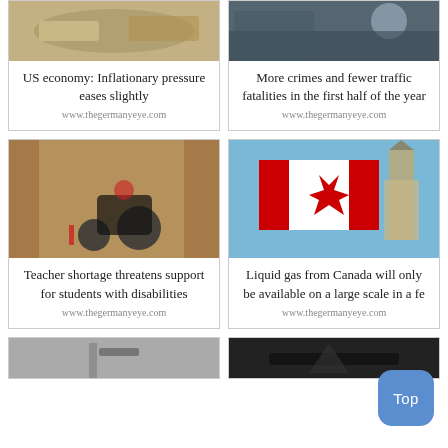[Figure (photo): Photo of money/currency related to US economy inflationary pressure]
US economy: Inflationary pressure eases slightly
www.thegermanyeye.com
[Figure (photo): Photo related to crimes and traffic fatalities story]
More crimes and fewer traffic fatalities in the first half of the year
www.thegermanyeye.com
[Figure (photo): Photo of a wheelchair in a school setting, related to students with disabilities]
Teacher shortage threatens support for students with disabilities
www.thegermanyeye.com
[Figure (photo): Photo of Canadian flag with Parliament building in background]
Liquid gas from Canada will only be available on a large scale in a fe
www.thegermanyeye.com
[Figure (photo): Bottom left partial photo]
[Figure (photo): Bottom right partial photo]